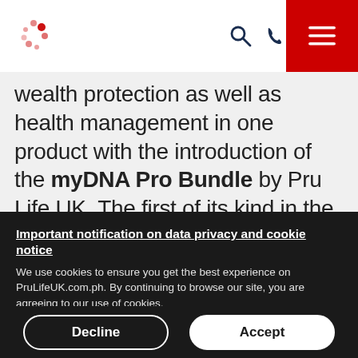Navigation bar with Pru Life UK logo, search icon, phone icon, and menu button
wealth protection as well as health management in one product with the introduction of the myDNA Pro Bundle by Pru Life UK. The first of its kind in the Philippines' life insurance industry, myDNA Pro Bundle combines Pru Life UK's
Important notification on data privacy and cookie notice
We use cookies to ensure you get the best experience on PruLifeUK.com.ph. By continuing to browse our site, you are agreeing to our use of cookies.
Decline
Accept